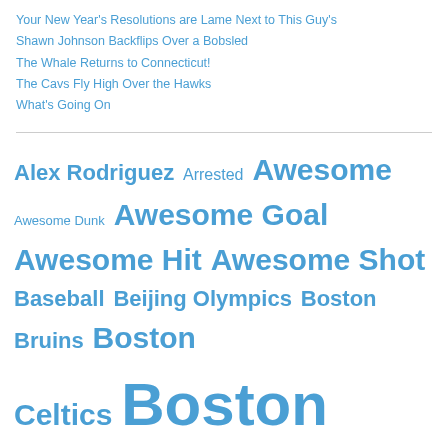Your New Year's Resolutions are Lame Next to This Guy's
Shawn Johnson Backflips Over a Bobsled
The Whale Returns to Connecticut!
The Cavs Fly High Over the Hawks
What's Going On
[Figure (other): Tag cloud with sports and entertainment topics in varying sizes, all in blue. Tags include: Alex Rodriguez, Arrested, Awesome, Awesome Dunk, Awesome Goal, Awesome Hit, Awesome Shot, Baseball, Beijing Olympics, Boston Bruins, Boston Celtics, Boston Red Sox, Boxing, Brawl, Brazil, Buffalo Bills, Cheerleaders, Chicago Bulls, Chicago Cubs, Chicago White Sox, Cincinnati Reds, Citi Field, Cleveland Cavaliers, Cricket, Dallas Cowboys, David Ortiz, Denver Broncos, Derek Jeter, Detroit Lions, Doppelgangers, Douches, Dustin Pedroia, ESPN]